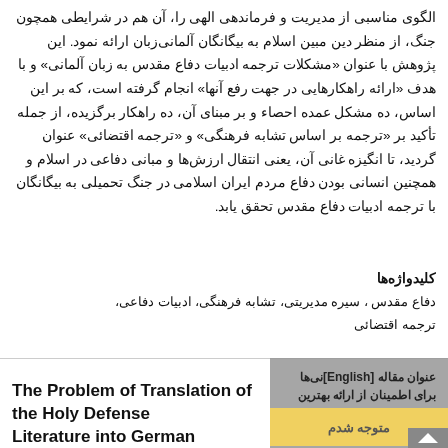الگوی مناسبی از مدیریت و فرماندهی الهی را، آن هم در شرایطی همچون جنگ، از منظر دین مبین اسلام به بیگانگان آلمانی‌زبان ارائه نمود. این پژوهش با عنوان «مشکلات ترجمه ادبیات دفاع مقدس به زبان آلمانی» و با هدف «ارائه راهکارهایی در جهت رفع آنها» انجام گرفته است، که بر این اساس، ده مشکل عمده احصاء و بر مبنای آن، ده راهکار برگزیده، از جمله تأکید بر «ترجمه بر اساس تشابه فرهنگی» و «ترجمه اقتضائی» عنوان گردید، تا انگیزه غانی آن، یعنی انتقال ارزش‌ها و مبانی دفاعی در اسلام و همچنین انسانی بودن دفاع مردم ایران اسلامی در جنگ تحمیلی به بیگانگان با ترجمه ادبیات دفاع مقدس تحقق یابد.
کلیدواژه‌ها
دفاع مقدس ، سیره مدیریتی، تشابه فرهنگی، ادبیات دفاعی، ترجمه اقتضائی
عنوان مقاله [English] نی‌ها برای اطمینان از ارائه بهترین خدمات استفاده می‌کند
The Problem of Translation of the Holy Defense Literature into German
متوجه شدم